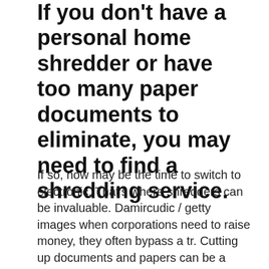If you don't have a personal home shredder or have too many paper documents to eliminate, you may need to find a shredding service.
If so, now may be the time to switch to electronic. That's where shredders can be invaluable. Damircudic / getty images when corporations need to raise money, they often bypass a tr. Cutting up documents and papers can be a chore. For your home office or small business use, you. When a loved one dies, you want to do everything you can to honor their life. Wholesale paper suppliers still represent a massive global industry, despite the prevalence of digital media. Are all those paper tax records overwhelming you? By cantthinkof bettername in paper by slackerstephen44 in paper by brindams in paper by k.bipin in office supply hacks by chrysn in cardboard by zazen. By alberta leong in parties & weddings by